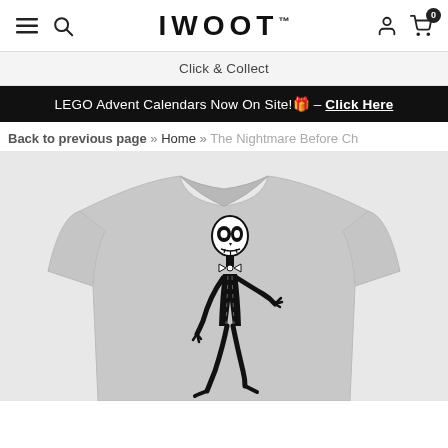IWOOT™ — navigation header with hamburger, search, logo, user and cart icons (badge: 0)
Click & Collect
LEGO Advent Calendars Now On Site!🎁 – Click Here
Back to previous page » Home » The Nightmare Before Ch…
[Figure (photo): Grey heather t-shirt with a black Jack Skellington (The Nightmare Before Christmas) graphic on the front, showing the character in a waving pose against the grey fabric.]